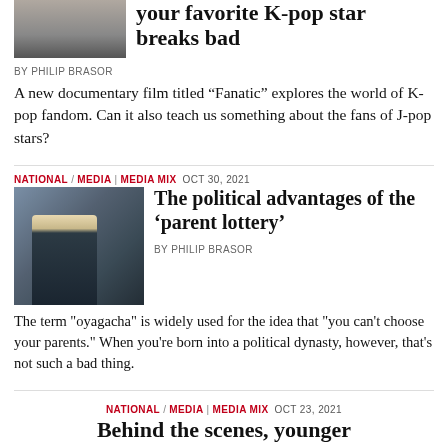[Figure (photo): Thumbnail image of a person, partially visible at top]
your favorite K-pop star breaks bad
BY PHILIP BRASOR
A new documentary film titled “Fanatic” explores the world of K-pop fandom. Can it also teach us something about the fans of J-pop stars?
[Figure (photo): Man in dark suit at press conference with microphones]
NATIONAL / MEDIA | MEDIA MIX OCT 30, 2021
The political advantages of the ‘parent lottery’
BY PHILIP BRASOR
The term "oyagacha" is widely used for the idea that "you can't choose your parents." When you're born into a political dynasty, however, that's not such a bad thing.
NATIONAL / MEDIA | MEDIA MIX OCT 23, 2021
Behind the scenes, younger